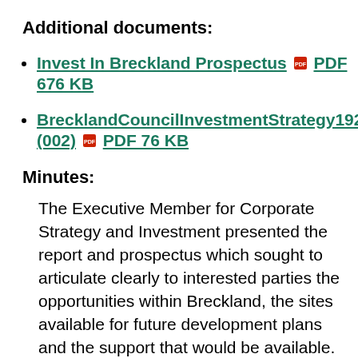Additional documents:
Invest In Breckland Prospectus PDF 676 KB
BrecklandCouncilInvestmentStrategy1920 (002) PDF 76 KB
Minutes:
The Executive Member for Corporate Strategy and Investment presented the report and prospectus which sought to articulate clearly to interested parties the opportunities within Breckland, the sites available for future development plans and the support that would be available.  The documents set out to achieve a clear direction and focus for its investment activity and that Breckland was ‘Open for